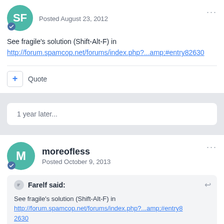Posted August 23, 2012
See fragile's solution (Shift-Alt-F) in http://forum.spamcop.net/forums/index.php?...amp;#entry82630
+ Quote
1 year later...
moreofless
Posted October 9, 2013
Farelf said:
See fragile's solution (Shift-Alt-F) in http://forum.spamcop.net/forums/index.php?...amp;#entry82630